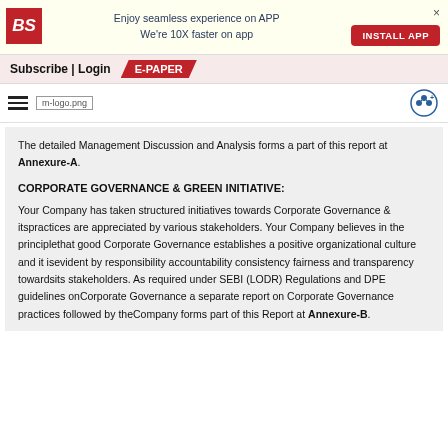[Figure (screenshot): Business Standard app install banner with red BS logo, text 'Enjoy seamless experience on APP We're 10X faster on app', INSTALL APP button, and close X]
Subscribe | Login   E-PAPER
[Figure (logo): Hamburger menu, m-logo.png, and share icon]
The detailed Management Discussion and Analysis forms a part of this report at Annexure-A.
CORPORATE GOVERNANCE & GREEN INITIATIVE:
Your Company has taken structured initiatives towards Corporate Governance & itspractices are appreciated by various stakeholders. Your Company believes in the principlethat good Corporate Governance establishes a positive organizational culture and it isevident by responsibility accountability consistency fairness and transparency towardsits stakeholders. As required under SEBI (LODR) Regulations and DPE guidelines onCorporate Governance a separate report on Corporate Governance practices followed by theCompany forms part of this Report at Annexure-B.